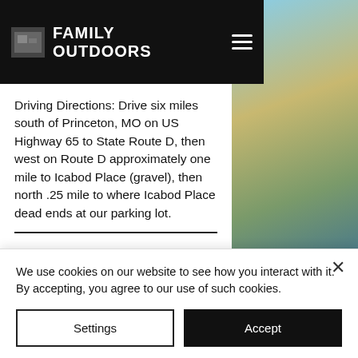FAMILY OUTDOORS
er. nd
Driving Directions: Drive six miles south of Princeton, MO on US Highway 65 to State Route D, then west on Route D approximately one mile to Icabod Place (gravel), then north .25 mile to where Icabod Place dead ends at our parking lot.
MILLER COUNTY PUBLIC FISHING
We use cookies on our website to see how you interact with it. By accepting, you agree to our use of such cookies.